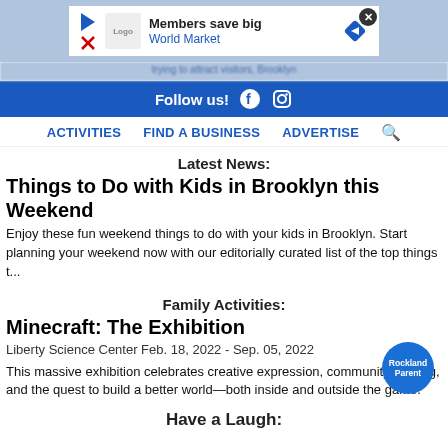[Figure (screenshot): Advertisement banner: Members save big - World Market, with nav/close icons]
Follow us!
ACTIVITIES   FIND A BUSINESS   ADVERTISE
Latest News:
Things to Do with Kids in Brooklyn this Weekend
Enjoy these fun weekend things to do with your kids in Brooklyn. Start planning your weekend now with our editorially curated list of the top things t...
Family Activities:
Minecraft: The Exhibition
Liberty Science Center Feb. 18, 2022 - Sep. 05, 2022
This massive exhibition celebrates creative expression, community crafting, and the quest to build a better world—both inside and outside the game.
[Figure (logo): Rockland Parent circular blue logo badge]
Have a Laugh: